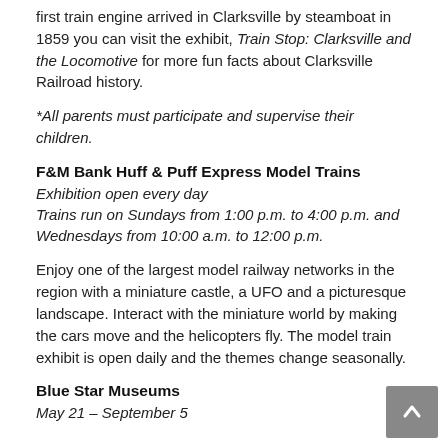first train engine arrived in Clarksville by steamboat in 1859 you can visit the exhibit, Train Stop: Clarksville and the Locomotive for more fun facts about Clarksville Railroad history.
*All parents must participate and supervise their children.
F&M Bank Huff & Puff Express Model Trains
Exhibition open every day
Trains run on Sundays from 1:00 p.m. to 4:00 p.m. and Wednesdays from 10:00 a.m. to 12:00 p.m.
Enjoy one of the largest model railway networks in the region with a miniature castle, a UFO and a picturesque landscape. Interact with the miniature world by making the cars move and the helicopters fly. The model train exhibit is open daily and the themes change seasonally.
Blue Star Museums
May 21 – September 5